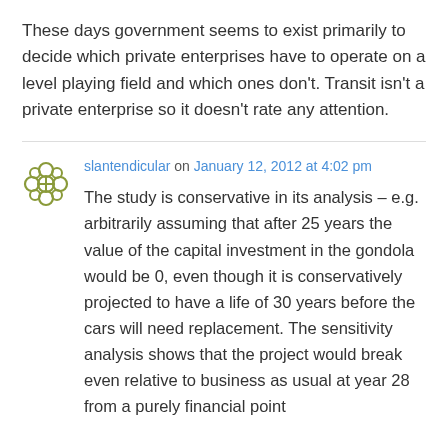These days government seems to exist primarily to decide which private enterprises have to operate on a level playing field and which ones don't. Transit isn't a private enterprise so it doesn't rate any attention.
slantendicular on January 12, 2012 at 4:02 pm
The study is conservative in its analysis – e.g. arbitrarily assuming that after 25 years the value of the capital investment in the gondola would be 0, even though it is conservatively projected to have a life of 30 years before the cars will need replacement. The sensitivity analysis shows that the project would break even relative to business as usual at year 28 from a purely financial point